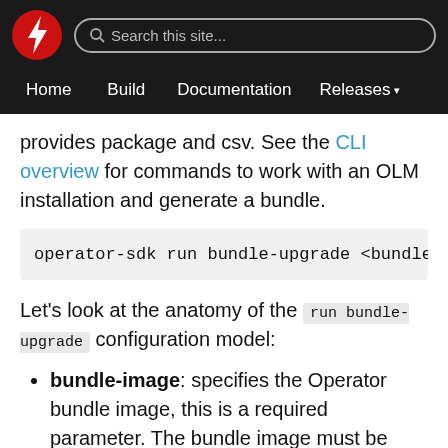Home  Build  Documentation  Releases
provides package and csv. See the CLI overview for commands to work with an OLM installation and generate a bundle.
operator-sdk run bundle-upgrade <bundle-image> [
Let's look at the anatomy of the run bundle-upgrade configuration model:
bundle-image: specifies the Operator bundle image, this is a required parameter. The bundle image must be pullable.